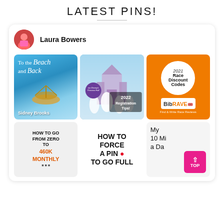LATEST PINS!
[Figure (screenshot): Pinterest profile card for Laura Bowers showing 6 pin images in a 3x2 grid: 'To the Beach and Back' book cover by Sidney Brooks, 'run Disney Princess Half 2022 Registration Tips', '2021 Race Discount Codes BibRave', 'How to go from Zero to 460K Monthly', 'How to Force a Pin to go Full', and 'My 10 Mi a Da' with a pink TOP button overlay]